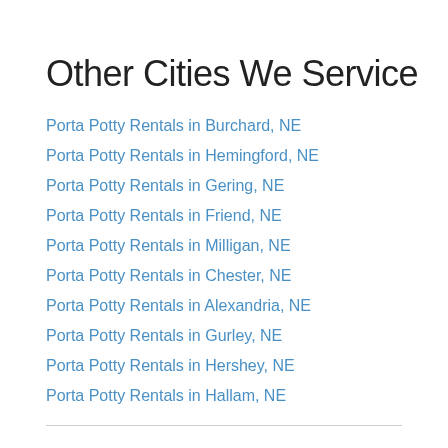Other Cities We Service
Porta Potty Rentals in Burchard, NE
Porta Potty Rentals in Hemingford, NE
Porta Potty Rentals in Gering, NE
Porta Potty Rentals in Friend, NE
Porta Potty Rentals in Milligan, NE
Porta Potty Rentals in Chester, NE
Porta Potty Rentals in Alexandria, NE
Porta Potty Rentals in Gurley, NE
Porta Potty Rentals in Hershey, NE
Porta Potty Rentals in Hallam, NE